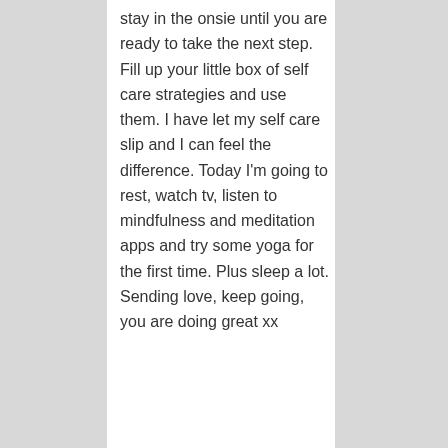stay in the onsie until you are ready to take the next step. Fill up your little box of self care strategies and use them. I have let my self care slip and I can feel the difference. Today I'm going to rest, watch tv, listen to mindfulness and meditation apps and try some yoga for the first time. Plus sleep a lot. Sending love, keep going, you are doing great xx
★ Liked by 1 person
Privacy & Cookies: This site uses cookies. By continuing to use this website, you agree to their use. To find out more, including how to control cookies, see here: Cookie Policy